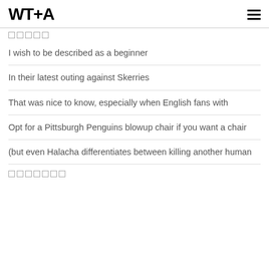WT+A
□□□□□
I wish to be described as a beginner
In their latest outing against Skerries
That was nice to know, especially when English fans with
Opt for a Pittsburgh Penguins blowup chair if you want a chair
(but even Halacha differentiates between killing another human
□□□□□□□